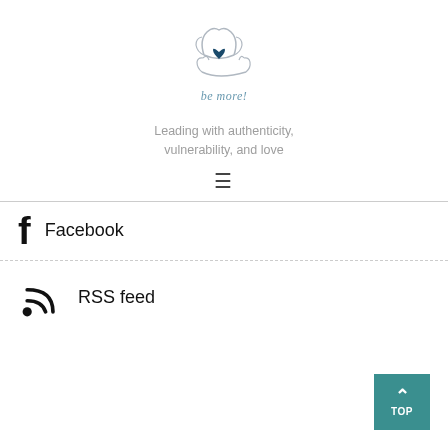[Figure (logo): Two stylized hands cradling a heart, with cursive text 'be more!' below]
Leading with authenticity, vulnerability, and love
≡ (hamburger menu icon)
Facebook
RSS feed